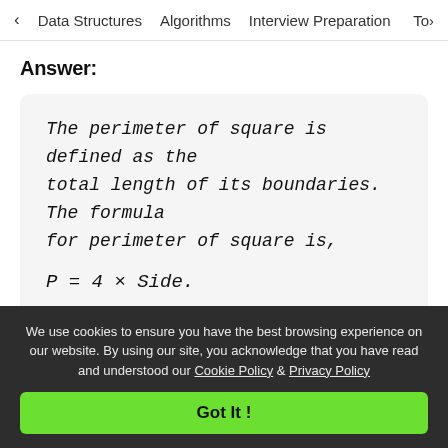< Data Structures   Algorithms   Interview Preparation   To>
Answer:
The perimeter of square is defined as the total length of its boundaries. The formula for perimeter of square is,
Question 2: What is the unit of the perimeter of
We use cookies to ensure you have the best browsing experience on our website. By using our site, you acknowledge that you have read and understood our Cookie Policy & Privacy Policy
Got It !